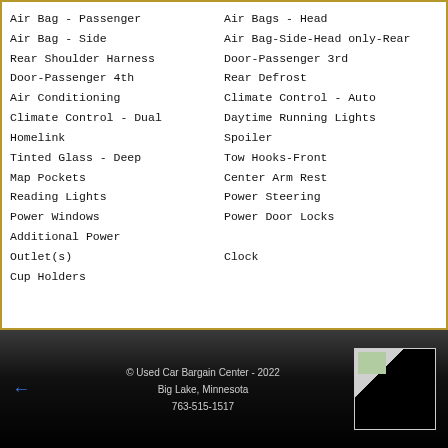Air Bag - Passenger
Air Bags - Head
Air Bag - Side
Air Bag-Side-Head only-Rear
Rear Shoulder Harness
Door-Passenger 3rd
Door-Passenger 4th
Rear Defrost
Air Conditioning
Climate Control - Auto
Climate Control - Dual
Daytime Running Lights
Homelink
Spoiler
Tinted Glass - Deep
Tow Hooks-Front
Map Pockets
Center Arm Rest
Reading Lights
Power Steering
Power Windows
Power Door Locks
Additional Power Outlet(s)
Clock
Cup Holders
© Used Car Bargain Center - 2022
Big Lake, Minnesota
763-515-1517